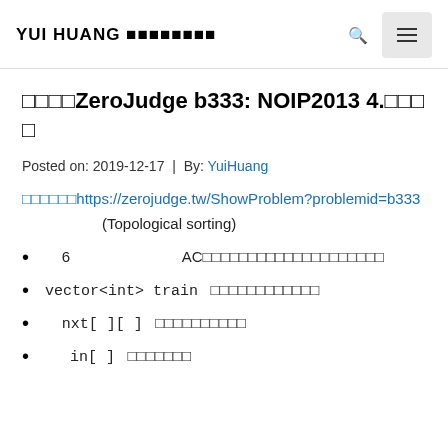YUI HUANG 黃威融部落格
【解題】ZeroJudge b333: NOIP2013 4.火車運輸
Posted on: 2019-12-17 | By: YuiHuang
題目連結：https://zerojudge.tw/ShowProblem?problemid=b333
(Topological sorting)
6 解法　AC後才發現根本沒用到結構，用邊就好
vector<int> train  紀錄每個點的邊
nxt[ ][ ]  紀錄相鄰的點
in[ ]  紀錄入度